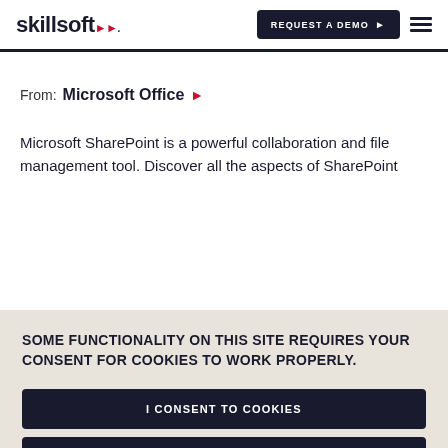skillsoft | REQUEST A DEMO ▶ ≡
From: Microsoft Office ▶
Microsoft SharePoint is a powerful collaboration and file management tool. Discover all the aspects of SharePoint
SOME FUNCTIONALITY ON THIS SITE REQUIRES YOUR CONSENT FOR COOKIES TO WORK PROPERLY.
I CONSENT TO COOKIES
I WANT MORE INFORMATION